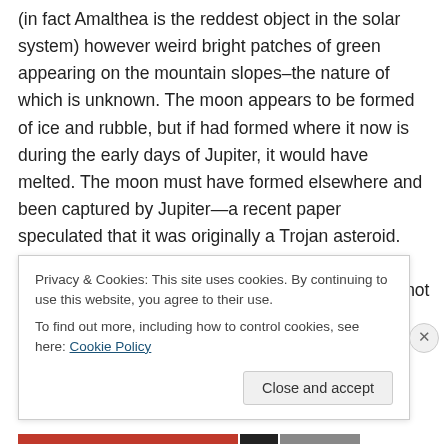(in fact Amalthea is the reddest object in the solar system) however weird bright patches of green appearing on the mountain slopes–the nature of which is unknown.  The moon appears to be formed of ice and rubble, but if had formed where it now is during the early days of Jupiter, it would have melted.  The moon must have formed elsewhere and been captured by Jupiter—a recent paper speculated that it was originally a Trojan asteroid.  Since Amalthea is made of ice and heterogeneous rubble scientists are perplexed at why gravity has not rearranged it into a more spherical shape.  Since Amalthea is
Privacy & Cookies: This site uses cookies. By continuing to use this website, you agree to their use.
To find out more, including how to control cookies, see here: Cookie Policy
Close and accept